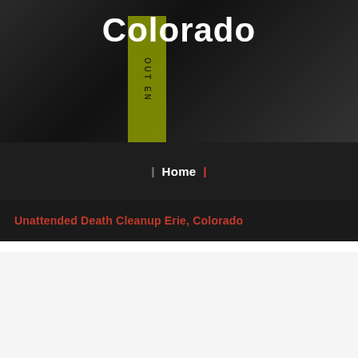[Figure (photo): Dark background crime scene or cleanup themed hero image with yellow caution tape and rocky/textured surface]
Colorado
❙  Home  ❙
Unattended Death Cleanup Erie, Colorado
Unattended Death Cleanup in Erie, Colorado